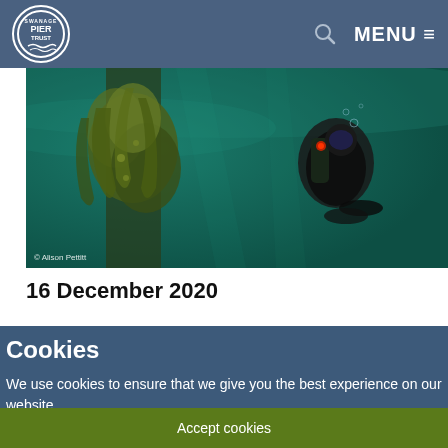Swanage Pier Trust — MENU
[Figure (photo): Underwater photograph showing a scuba diver exploring a pier piling covered in marine life and kelp in green-tinted water. Photo credit: © Alison Pettitt]
16 December 2020
Cookies
We use cookies to ensure that we give you the best experience on our website.
Find out more
Accept cookies